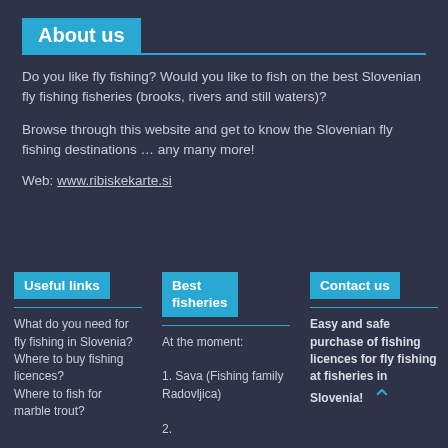About us
Do you like fly fishing? Would you like to fish on the best Slovenian fly fishing fisheries (brooks, rivers and still waters)?
Browse through this website and get to know the Slovenian fly fishing destinations … any many more!
Web: www.ribiskekarte.si
Useful links
Best fisheries
Contact us
What do you need for fly fishing in Slovenia?
Where to buy fishing licences?
Where to fish for marble trout?
At the moment:

1. Sava (Fishing family Radovljica)
Easy and safe purchase of fishing licences for fly fishing at fisheries in Slovenia!